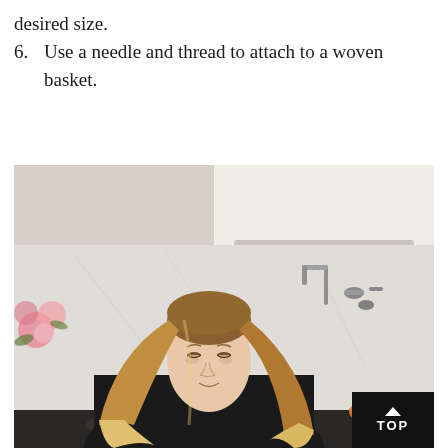desired size.
6. Use a needle and thread to attach to a woven basket.
[Figure (photo): A woman with long blonde ombre hair, wearing a black top, looking down and working with a woven basket. She is in a bright kitchen with white marble backsplash, a pot filler faucet, and a copper bowl visible in the background. Pink flowers are visible on the left side.]